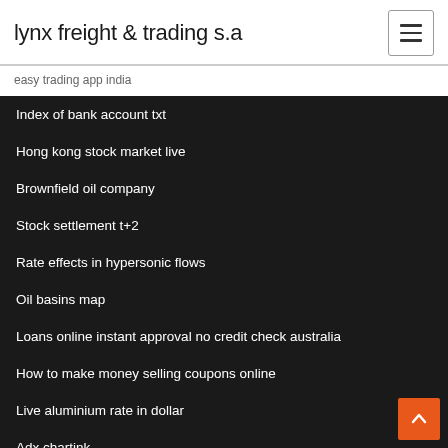lynx freight & trading s.a
easy trading app india
Index of bank account txt
Hong kong stock market live
Brownfield oil company
Stock settlement t+2
Rate effects in hypersonic flows
Oil basins map
Loans online instant approval no credit check australia
How to make money selling coupons online
Live aluminium rate in dollar
Adx chartink